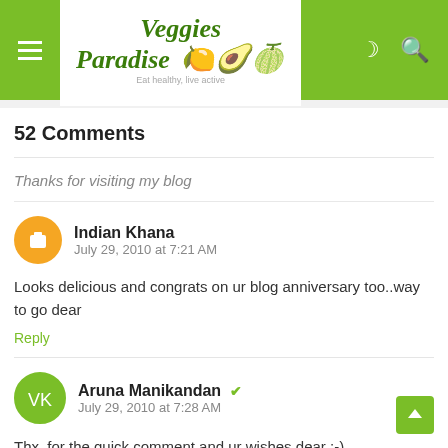[Figure (logo): Veggies Paradise blog logo with vegetable icons on green header bar with hamburger menu, moon icon, and search icon]
52 Comments
Thanks for visiting my blog
Indian Khana
July 29, 2010 at 7:21 AM
Looks delicious and congrats on ur blog anniversary too..way to go dear
Reply
Aruna Manikandan
July 29, 2010 at 7:28 AM
Thx. for the quick comment and ur wishes dear :-)